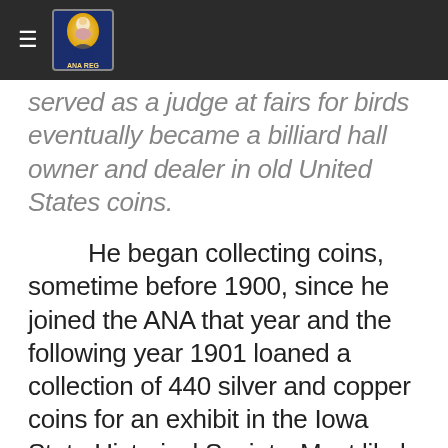≡ [logo]
served as a judge at fairs for birds eventually became a billiard hall owner and dealer in old United States coins.
He began collecting coins, sometime before 1900, since he joined the ANA that year and the following year 1901 loaned a collection of 440 silver and copper coins for an exhibit in the Iowa State Historical Society. Most likely he began collecting in his youth